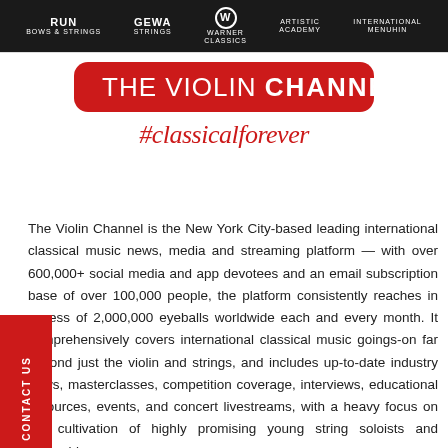[Figure (logo): Sponsor bar with logos: RUN (Bows & Strings), GEWA Strings, Warner Classics (W logo), Artistic Academy, International Menuhin]
[Figure (logo): The Violin Channel logo: red rounded rectangle with white text 'THE VIOLIN CHANNEL' and red cursive hashtag '#classicalforever' below]
The Violin Channel is the New York City-based leading international classical music news, media and streaming platform — with over 600,000+ social media and app devotees and an email subscription base of over 100,000 people, the platform consistently reaches in excess of 2,000,000 eyeballs worldwide each and every month. It comprehensively covers international classical music goings-on far beyond just the violin and strings, and includes up-to-date industry news, masterclasses, competition coverage, interviews, educational resources, events, and concert livestreams, with a heavy focus on the cultivation of highly promising young string soloists and ensembl…